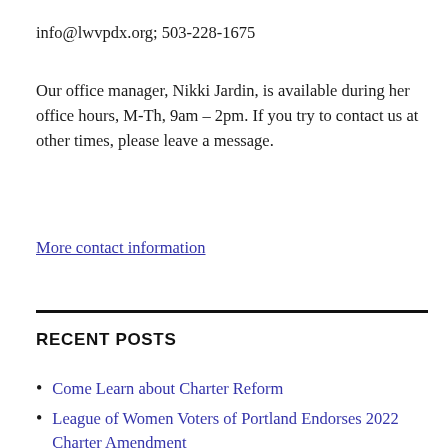info@lwvpdx.org; 503-228-1675
Our office manager, Nikki Jardin, is available during her office hours, M-Th, 9am – 2pm. If you try to contact us at other times, please leave a message.
More contact information
RECENT POSTS
Come Learn about Charter Reform
League of Women Voters of Portland Endorses 2022 Charter Amendment